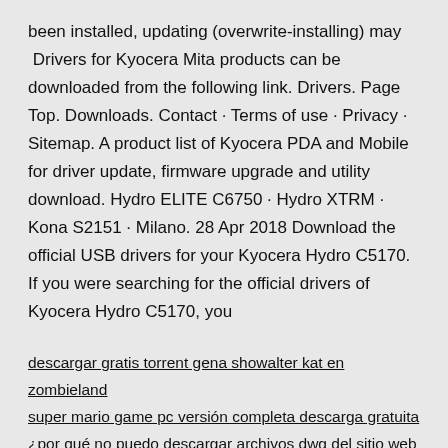been installed, updating (overwrite-installing) may  Drivers for Kyocera Mita products can be downloaded from the following link. Drivers. Page Top. Downloads. Contact · Terms of use · Privacy · Sitemap. A product list of Kyocera PDA and Mobile for driver update, firmware upgrade and utility download. Hydro ELITE C6750 · Hydro XTRM · Kona S2151 · Milano. 28 Apr 2018 Download the official USB drivers for your Kyocera Hydro C5170. If you were searching for the official drivers of Kyocera Hydro C5170, you
descargar gratis torrent gena showalter kat en zombieland
super mario game pc versión completa descarga gratuita
¿por qué no puedo descargar archivos dwg del sitio web
descargando fortnite en ps4
amazon areal descarga remedio de error de conexión de datos de android
sdpsyuq